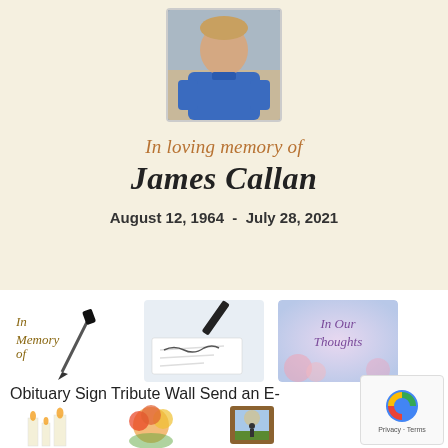[Figure (photo): Portrait photo of James Callan, a man in a blue polo shirt]
In loving memory of James Callan
August 12, 1964  -  July 28, 2021
[Figure (illustration): In Memory of - decorative pen writing illustration]
[Figure (illustration): Pen and handwriting illustration]
[Figure (illustration): In Our Thoughts - floral card]
Obituary Sign Tribute Wall Send an E-Card
[Figure (illustration): Candles illustration]
[Figure (illustration): Flower bouquet illustration]
[Figure (illustration): Framed photo illustration]